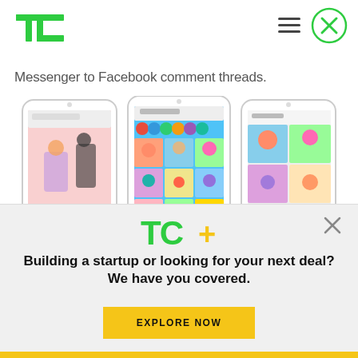[Figure (logo): TechCrunch TC logo in green top left]
[Figure (illustration): Hamburger menu icon (three horizontal lines) in dark color]
[Figure (illustration): Close button - circle with X in green color]
Messenger to Facebook comment threads.
[Figure (screenshot): Three iPhone screenshots showing a colorful avatar/sticker app interface with cartoon characters]
[Figure (logo): TC+ logo in green and yellow colors]
[Figure (illustration): Close X button for panel]
Building a startup or looking for your next deal? We have you covered.
[Figure (illustration): EXPLORE NOW button in yellow/gold color]